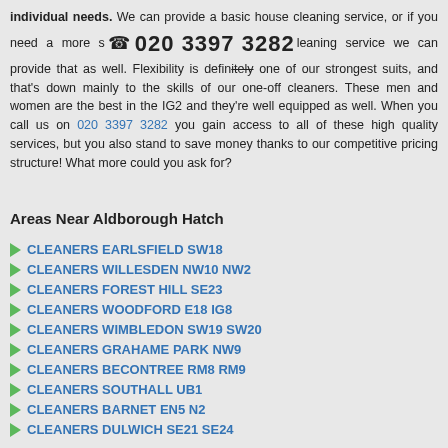individual needs. We can provide a basic house cleaning service, or if you need a more specialised one-off cleaning service we can provide that as well. Flexibility is definitely one of our strongest suits, and that's down mainly to the skills of our one-off cleaners. These men and women are the best in the IG2 and they're well equipped as well. When you call us on 020 3397 3282 you gain access to all of these high quality services, but you also stand to save money thanks to our competitive pricing structure! What more could you ask for?
[Figure (other): Phone icon with large phone number 020 3397 3282 displayed as a banner overlay on the text]
Areas Near Aldborough Hatch
CLEANERS EARLSFIELD SW18
CLEANERS WILLESDEN NW10 NW2
CLEANERS FOREST HILL SE23
CLEANERS WOODFORD E18 IG8
CLEANERS WIMBLEDON SW19 SW20
CLEANERS GRAHAME PARK NW9
CLEANERS BECONTREE RM8 RM9
CLEANERS SOUTHALL UB1
CLEANERS BARNET EN5 N2
CLEANERS DULWICH SE21 SE24